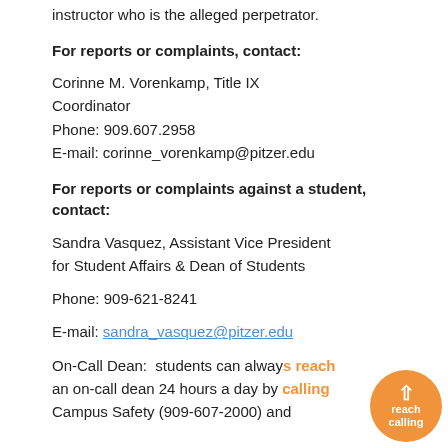instructor who is the alleged perpetrator.
For reports or complaints, contact:
Corinne M. Vorenkamp, Title IX Coordinator
Phone: 909.607.2958
E-mail: corinne_vorenkamp@pitzer.edu
For reports or complaints against a student, contact:
Sandra Vasquez, Assistant Vice President for Student Affairs & Dean of Students

Phone: 909-621-8241

E-mail: sandra_vasquez@pitzer.edu

On-Call Dean:  students can always reach an on-call dean 24 hours a day by calling Campus Safety (909-607-2000) and